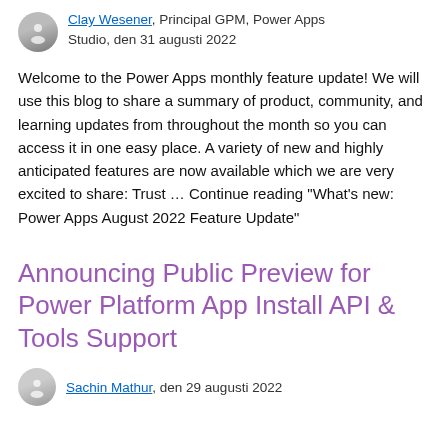Clay Wesener, Principal GPM, Power Apps Studio, den 31 augusti 2022
Welcome to the Power Apps monthly feature update! We will use this blog to share a summary of product, community, and learning updates from throughout the month so you can access it in one easy place. A variety of new and highly anticipated features are now available which we are very excited to share: Trust … Continue reading "What's new: Power Apps August 2022 Feature Update"
Announcing Public Preview for Power Platform App Install API & Tools Support
Sachin Mathur, den 29 augusti 2022